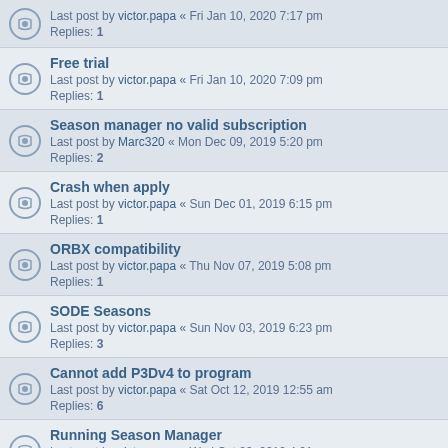Last post by victor.papa « Fri Jan 10, 2020 7:17 pm
Replies: 1
Free trial
Last post by victor.papa « Fri Jan 10, 2020 7:09 pm
Replies: 1
Season manager no valid subscription
Last post by Marc320 « Mon Dec 09, 2019 5:20 pm
Replies: 2
Crash when apply
Last post by victor.papa « Sun Dec 01, 2019 6:15 pm
Replies: 1
ORBX compatibility
Last post by victor.papa « Thu Nov 07, 2019 5:08 pm
Replies: 1
SODE Seasons
Last post by victor.papa « Sun Nov 03, 2019 6:23 pm
Replies: 3
Cannot add P3Dv4 to program
Last post by victor.papa « Sat Oct 12, 2019 12:55 am
Replies: 6
Running Season Manager
Last post by victor.papa « Wed Oct 09, 2019 4:21 pm
Replies: 1
22 topics • Page 1 of 1
Jump to